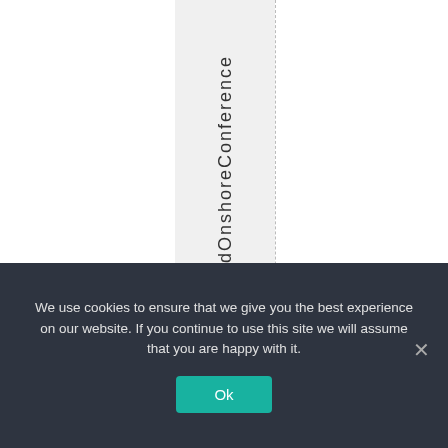[Figure (other): White page area with dashed vertical column guides and vertical stacked text reading 'ndOnshoreConference' in a grey column between two dashed lines]
We use cookies to ensure that we give you the best experience on our website. If you continue to use this site we will assume that you are happy with it.